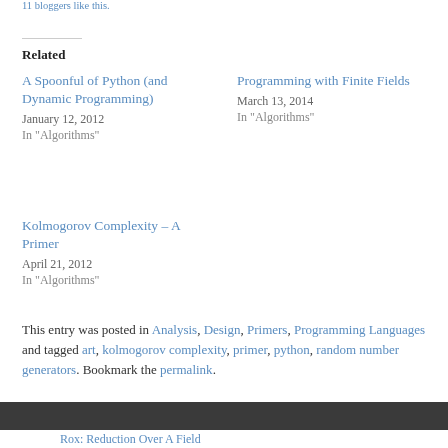11 bloggers like this.
Related
A Spoonful of Python (and Dynamic Programming)
January 12, 2012
In "Algorithms"
Programming with Finite Fields
March 13, 2014
In "Algorithms"
Kolmogorov Complexity – A Primer
April 21, 2012
In "Algorithms"
This entry was posted in Analysis, Design, Primers, Programming Languages and tagged art, kolmogorov complexity, primer, python, random number generators. Bookmark the permalink.
Rox: Reduction Over A Field